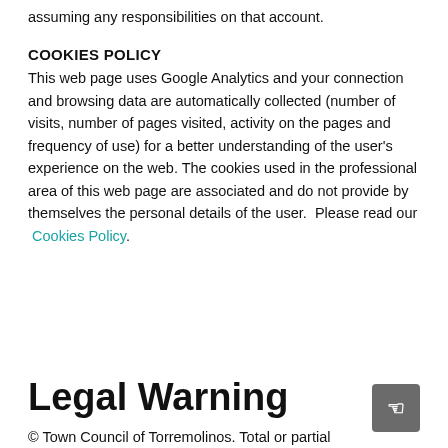assuming any responsibilities on that account.
COOKIES POLICY
This web page uses Google Analytics and your connection and browsing data are automatically collected (number of visits, number of pages visited, activity on the pages and frequency of use) for a better understanding of the user's experience on the web. The cookies used in the professional area of this web page are associated and do not provide by themselves the personal details of the user.  Please read our  Cookies Policy.
Legal Warning
© Town Council of Torremolinos. Total or partial